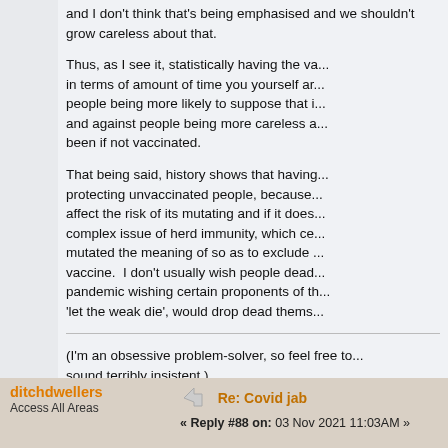and I don't think that's being emphasised and we shouldn't grow careless about that.
Thus, as I see it, statistically having the va... in terms of amount of time you yourself ar... people being more likely to suppose that i... and against people being more careless a... been if not vaccinated.
That being said, history shows that having... protecting unvaccinated people, because... affect the risk of its mutating and if it does... complex issue of herd immunity, which ce... mutated the meaning of so as to exclude... vaccine.  I don't usually wish people dead... pandemic wishing certain proponents of th... 'let the weak die', would drop dead thems...
(I'm an obsessive problem-solver, so feel free to... sound terribly insistent.)
ditchdwellers
Access All Areas
Re: Covid jab
« Reply #88 on: 03 Nov 2021 11:03AM »